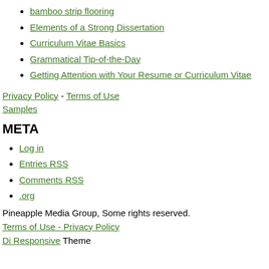bamboo strip flooring
Elements of a Strong Dissertation
Curriculum Vitae Basics
Grammatical Tip-of-the-Day
Getting Attention with Your Resume or Curriculum Vitae
Privacy Policy - Terms of Use
Samples
META
Log in
Entries RSS
Comments RSS
.org
Pineapple Media Group, Some rights reserved.
Terms of Use - Privacy Policy
Di Responsive Theme